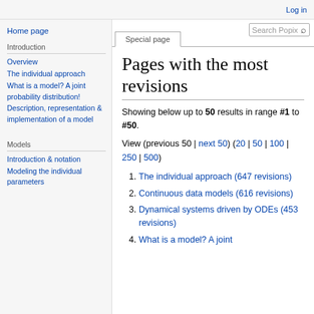Log in
Special page
Pages with the most revisions
Showing below up to 50 results in range #1 to #50.
View (previous 50 | next 50) (20 | 50 | 100 | 250 | 500)
The individual approach (647 revisions)
Continuous data models (616 revisions)
Dynamical systems driven by ODEs (453 revisions)
What is a model? A joint
Home page
Introduction
Overview
The individual approach
What is a model? A joint probability distribution!
Description, representation & implementation of a model
Models
Introduction & notation
Modeling the individual parameters